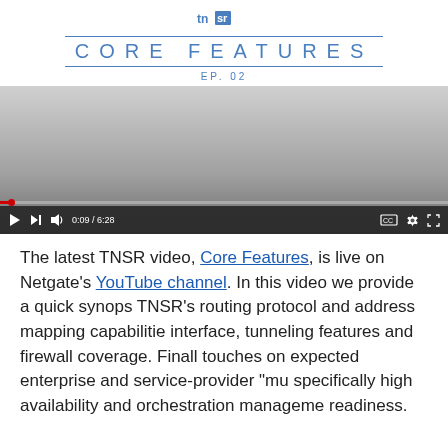[Figure (logo): TNSR logo with 'tn' text and 'sr' in blue box]
CORE FEATURES
EP. 02
[Figure (screenshot): Embedded video player showing TNSR Core Features EP. 02 video. Progress bar shows 0:09 / 6:28. Controls include play, skip, volume, CC, settings, and fullscreen buttons.]
The latest TNSR video, Core Features, is live on Netgate's YouTube channel. In this video we provide a quick synopsis of TNSR's routing protocol and address mapping capabilities, interface, tunneling features and firewall coverage. Finally, touches on expected enterprise and service-provider "mu specifically high availability and orchestration manageme readiness.